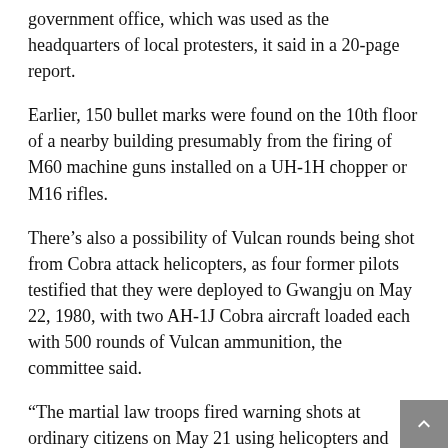government office, which was used as the headquarters of local protesters, it said in a 20-page report.
Earlier, 150 bullet marks were found on the 10th floor of a nearby building presumably from the firing of M60 machine guns installed on a UH-1H chopper or M16 rifles.
There's also a possibility of Vulcan rounds being shot from Cobra attack helicopters, as four former pilots testified that they were deployed to Gwangju on May 22, 1980, with two AH-1J Cobra aircraft loaded each with 500 rounds of Vulcan ammunition, the committee said.
“The martial law troops fired warning shots at ordinary citizens on May 21 using helicopters and even directly shot at unarmed civilians,” it said. “The reckless, inhumane acts are evidence of brutality, cruelty and criminal nature of their operation to suppress the uprising.”
In the case of the May 27 helicopter shooting, the panel added,